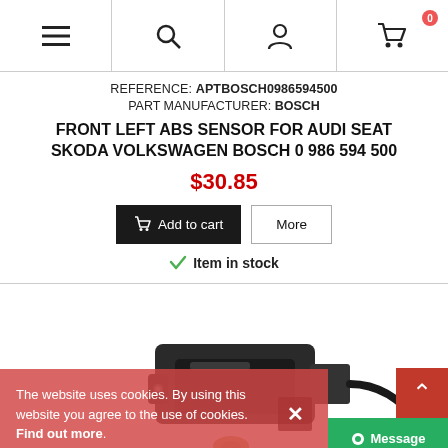Navigation bar with menu, search, account, and cart icons
REFERENCE: APTBOSCH0986594500
PART MANUFACTURER: BOSCH
FRONT LEFT ABS SENSOR FOR AUDI SEAT SKODA VOLKSWAGEN BOSCH 0 986 594 500
$30.85
Add to cart
More
Item in stock
[Figure (photo): Product photo of a black ABS wheel speed sensor component for Audi/Seat/Skoda/Volkswagen, Bosch part 0 986 594 500]
The website uses cookies. By using this website you agree to the use of cookies. Find out more.
Message